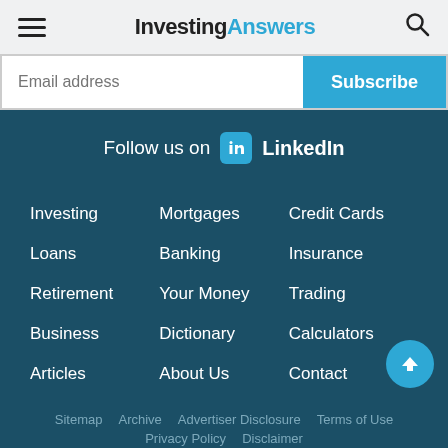InvestingAnswers
Email address | Subscribe
Follow us on LinkedIn
Investing
Mortgages
Credit Cards
Loans
Banking
Insurance
Retirement
Your Money
Trading
Business
Dictionary
Calculators
Articles
About Us
Contact
Sitemap  Archive  Advertiser Disclosure  Terms of Use  Privacy Policy  Disclaimer